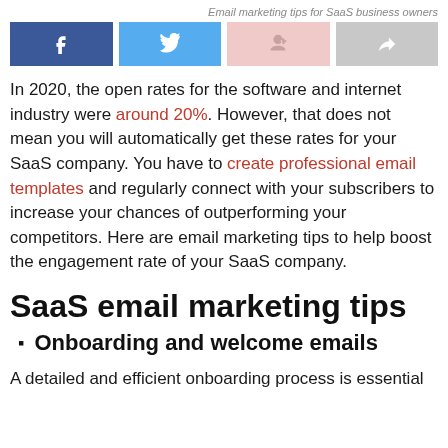Email marketing tips for SaaS business owners
[Figure (infographic): Four social share buttons: Facebook (dark blue), Twitter (light blue), Google+ (light pink), Share/forward (light gray)]
In 2020, the open rates for the software and internet industry were around 20%. However, that does not mean you will automatically get these rates for your SaaS company. You have to create professional email templates and regularly connect with your subscribers to increase your chances of outperforming your competitors. Here are email marketing tips to help boost the engagement rate of your SaaS company.
SaaS email marketing tips
Onboarding and welcome emails
A detailed and efficient onboarding process is essential